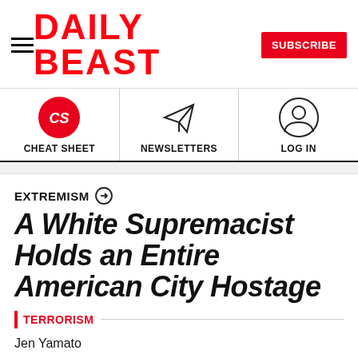DAILY BEAST
[Figure (logo): Navigation bar with Cheat Sheet (red CS circle), Newsletters (paper plane icon), and Log In (user silhouette icon)]
EXTREMISM →
A White Supremacist Holds an Entire American City Hostage
TERRORISM
Jen Yamato
Updated Apr. 14, 2017 9:33AM ET
Published Sep. 06, 2015 1:50AM ET